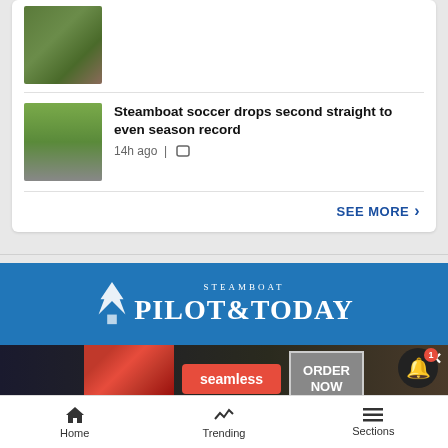[Figure (photo): Thumbnail photo of a soccer match in progress on green field]
Steamboat soccer drops second straight to even season record
14h ago |
SEE MORE ›
[Figure (logo): Steamboat Pilot & Today logo on blue background]
[Figure (photo): Seamless food delivery advertisement banner with pizza image and ORDER NOW button]
Home   Trending   Sections